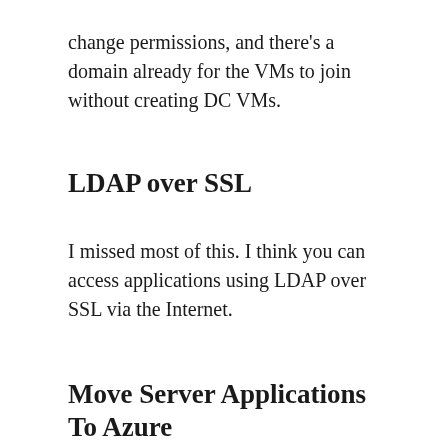change permissions, and there's a domain already for the VMs to join without creating DC VMs.
LDAP over SSL
I missed most of this. I think you can access applications using LDAP over SSL via the Internet.
Move Server Applications To Azure
User AADDS to provision and manage service